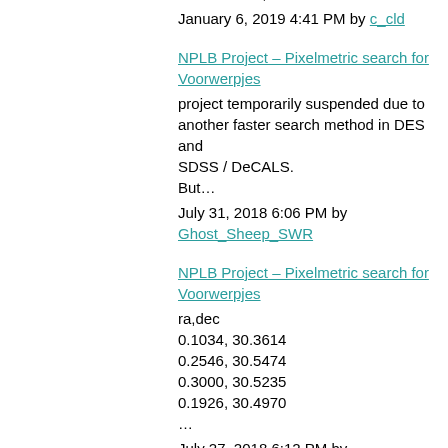data (HST Proposal 15323 by Jonelle Walsh Texas, A & M…
January 6, 2019 4:41 PM by c_cld
NPLB Project – Pixelmetric search for Voorwerpjes
project temporarily suspended due to another faster search method in DES and SDSS / DeCALS.
But…
July 31, 2018 6:06 PM by Ghost_Sheep_SWR
NPLB Project – Pixelmetric search for Voorwerpjes
ra,dec
0.1034, 30.3614
0.2546, 30.5474
0.3000, 30.5235
0.1926, 30.4970
…
July 27, 2018 6:12 PM by Ghost_Sheep_SWR